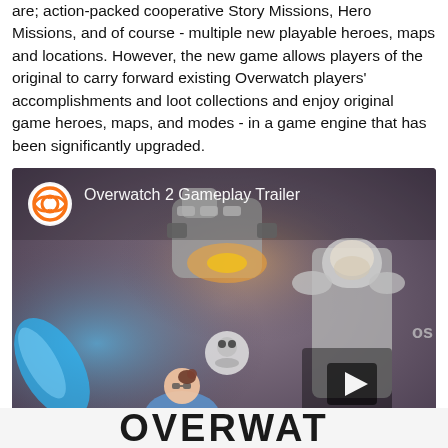are; action-packed cooperative Story Missions, Hero Missions, and of course - multiple new playable heroes, maps and locations. However, the new game allows players of the original to carry forward existing Overwatch players' accomplishments and loot collections and enjoy original game heroes, maps, and modes - in a game engine that has been significantly upgraded.
[Figure (screenshot): Overwatch 2 Gameplay Trailer video thumbnail showing game characters including Mei, Reinhardt, and others in action poses against a stylized background. Features the Overwatch logo and a play button overlay.]
OVERWAT